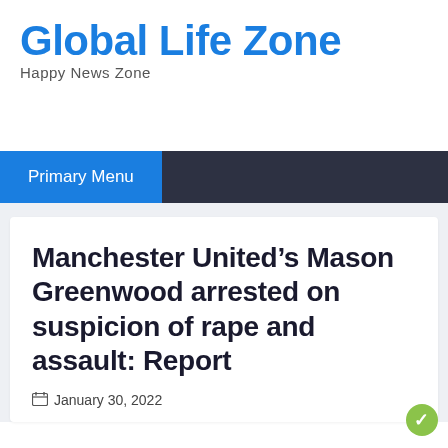Global Life Zone
Happy News Zone
Primary Menu
Manchester United's Mason Greenwood arrested on suspicion of rape and assault: Report
January 30, 2022